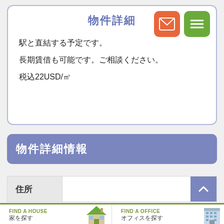物件詳細
駅と直結する予定です。
長期賃借も可能です。ご相談ください。
税込22USD/㎡
物件詳細情報
住所
FIND A HOUSE 家を探す
FIND A OFFICE オフィスを探す